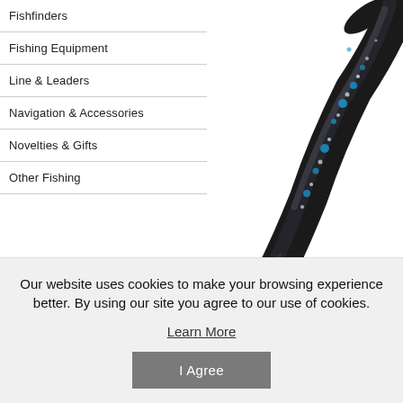Fishfinders
Fishing Equipment
Line & Leaders
Navigation & Accessories
Novelties & Gifts
Other Fishing
[Figure (photo): Close-up of a dark black fishing tube lure with blue and silver glitter sparkles]
BRANDS
Sporting a classic tube sh... the tubes an earthy tinge... entice and encourage fish...
Our website uses cookies to make your browsing experience better. By using our site you agree to our use of cookies.
Learn More
I Agree